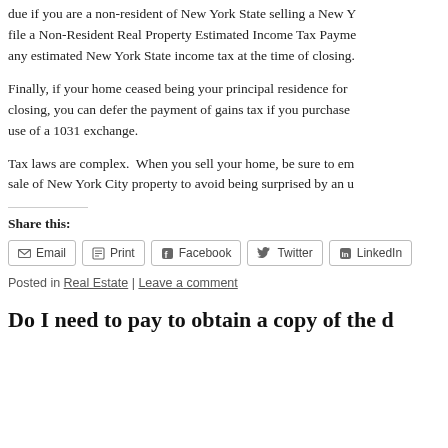due if you are a non-resident of New York State selling a New York property. You must file a Non-Resident Real Property Estimated Income Tax Payment at closing to pay any estimated New York State income tax at the time of closing.
Finally, if your home ceased being your principal residence for a period prior to closing, you can defer the payment of gains tax if you purchase another property by use of a 1031 exchange.
Tax laws are complex. When you sell your home, be sure to employ a lawyer in the sale of New York City property to avoid being surprised by an unexpected tax bill.
Share this:
Email | Print | Facebook | Twitter | LinkedIn
Posted in Real Estate | Leave a comment
Do I need to pay to obtain a copy of the d